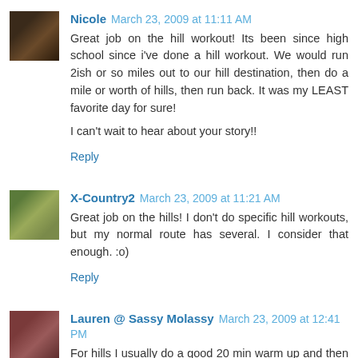[Figure (photo): Avatar photo of Nicole - dark toned portrait]
Nicole March 23, 2009 at 11:11 AM
Great job on the hill workout! Its been since high school since i've done a hill workout. We would run 2ish or so miles out to our hill destination, then do a mile or worth of hills, then run back. It was my LEAST favorite day for sure!

I can't wait to hear about your story!!
Reply
[Figure (photo): Avatar photo of X-Country2 - outdoor/nature scene]
X-Country2 March 23, 2009 at 11:21 AM
Great job on the hills! I don't do specific hill workouts, but my normal route has several. I consider that enough. :o)
Reply
[Figure (photo): Avatar photo of Lauren - woman with dark hair]
Lauren @ Sassy Molassy March 23, 2009 at 12:41 PM
For hills I usually do a good 20 min warm up and then 7-10 hills (90 seconds each) taking about 2 min to slowly jog